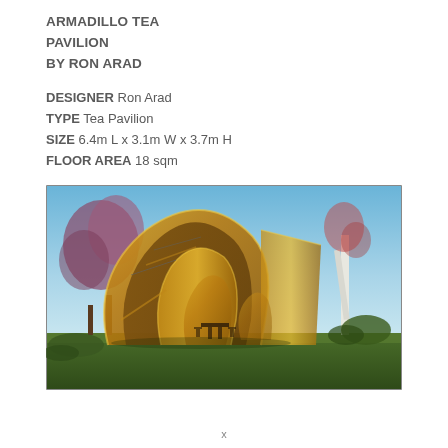ARMADILLO TEA PAVILION BY RON ARAD
DESIGNER Ron Arad
TYPE Tea Pavilion
SIZE 6.4m L x 3.1m W x 3.7m H
FLOOR AREA 18 sqm
[Figure (photo): Exterior photograph of the Armadillo Tea Pavilion by Ron Arad — a sculptural wooden arch structure with interlocking curved plywood ribs forming a tunnel-like shell, photographed outdoors on grass with trees and blue sky in the background.]
x